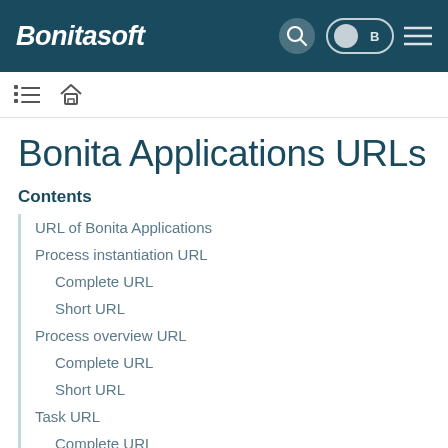Bonitasoft
Bonita Applications URLs
Contents
URL of Bonita Applications
Process instantiation URL
Complete URL
Short URL
Process overview URL
Complete URL
Short URL
Task URL
Complete URL
Short URL